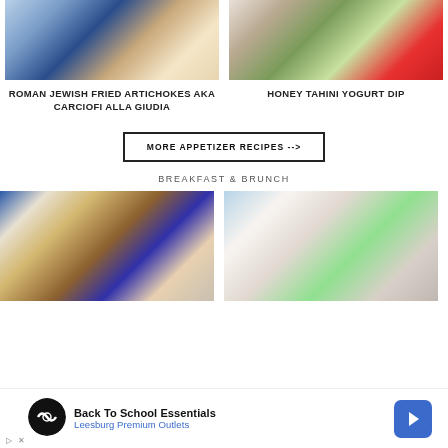[Figure (photo): Roman Jewish Fried Artichokes food photo, blue napkin, white dipping sauce]
[Figure (photo): Honey Tahini Yogurt Dip with sliced apples and pomegranate on wooden board]
ROMAN JEWISH FRIED ARTICHOKES AKA CARCIOFI ALLA GIUDIA
HONEY TAHINI YOGURT DIP
MORE APPETIZER RECIPES -->
BREAKFAST & BRUNCH
[Figure (photo): Breakfast pancakes with blueberries and berries, chocolate swirl, oats]
[Figure (photo): Yogurt or cream cheese in a bowl with green spatula on light blue background]
[Figure (photo): Advertisement: Back To School Essentials - Leesburg Premium Outlets]